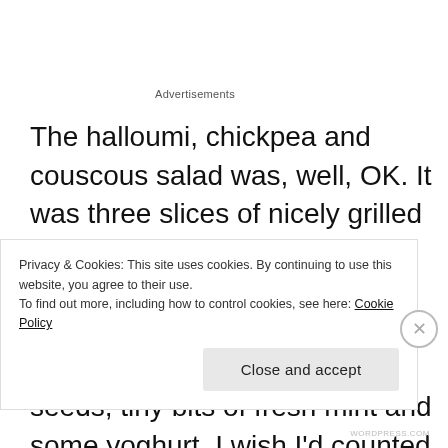Advertisements
The halloumi, chickpea and couscous salad was, well, OK. It was three slices of nicely grilled halloumi on top of a saucer of couscous which had a few but not quite enough interesting things mixed in; pomegranate seeds, tiny bits of fresh mint and some yoghurt. I wish I'd counted the chickpeas as I am
Privacy & Cookies: This site uses cookies. By continuing to use this website, you agree to their use.
To find out more, including how to control cookies, see here: Cookie Policy
Close and accept
WORDPRESS.COM